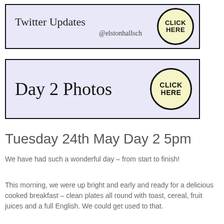[Figure (infographic): Twitter Updates box with light purple background, black border, text 'Twitter Updates' and '@elstonhallsch' with a yellow CLICK HERE circle button]
[Figure (infographic): Day 2 Photos box with light purple background, black border, text 'Day 2 Photos' with a yellow CLICK HERE circle button]
Tuesday 24th May Day 2 5pm
We have had such a wonderful day – from start to finish!
This morning, we were up bright and early and ready for a delicious cooked breakfast – clean plates all round with toast, cereal, fruit juices and a full English. We could get used to that.